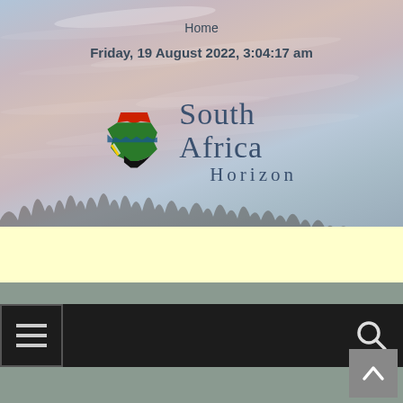Home
Friday, 19 August 2022, 3:04:17 am
[Figure (logo): South Africa Horizon website logo with South Africa map shape in green, red, blue and yellow, with text 'South Africa Horizon' in dark blue serif font]
[Figure (screenshot): Yellow band / advertisement area below logo]
[Figure (screenshot): Dark navigation bar with hamburger menu icon on left and search icon on right, with scroll-to-top button]